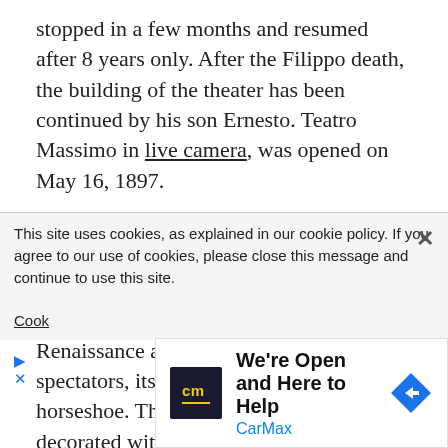stopped in a few months and resumed after 8 years only. After the Filippo death, the building of the theater has been continued by his son Ernesto. Teatro Massimo in live camera, was opened on May 16, 1897.
The building of the opera house in live broadcast, is made in neoclassical style with elements of Greek temples. The main auditorium is made in the style of the late Renaissance and can invite up to 3,000 spectators, its shape resembles a horseshoe. The interior of the theatre is decorated with sculptures of great world-famous composers.
This site uses cookies, as explained in our cookie policy. If you agree to our use of cookies, please close this message and continue to use this site.
[Figure (other): CarMax advertisement banner: 'We're Open and Here to Help' with CarMax logo and navigation icon]